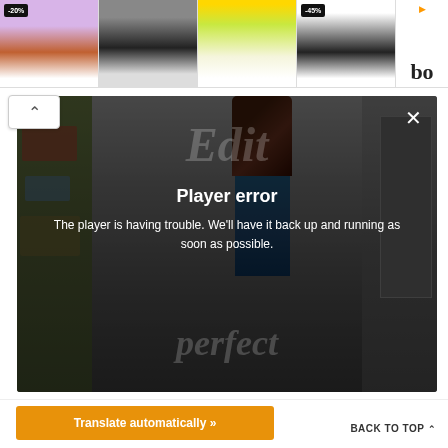[Figure (screenshot): Advertisement banner showing four athletic/fashion clothing items with discount tags (-20%, -45%) and a logo area with orange arrow on the right]
[Figure (screenshot): Video player showing a street fashion scene with two people walking, overlaid with a 'Player error' message: 'The player is having trouble. We'll have it back up and running as soon as possible.' with a close (X) button and partial watermark text 'Edit perfect']
Translate automatically »
BACK TO TOP ∧